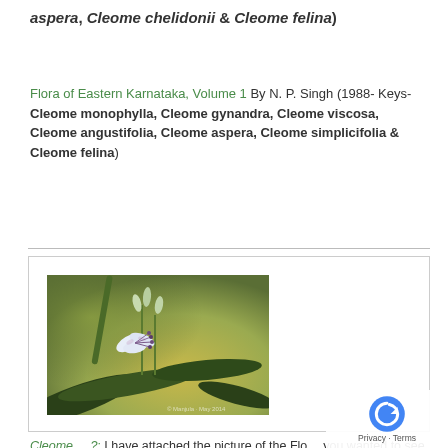aspera, Cleome chelidonii & Cleome felina)
Flora of Eastern Karnataka, Volume 1 By N. P. Singh (1988- Keys- Cleome monophylla, Cleome gynandra, Cleome viscosa, Cleome angustifolia, Cleome aspera, Cleome simplicifolia & Cleome felina)
[Figure (photo): Close-up photograph of a Cleome plant showing white-pink flowers with long stamens and narrow dark green leaves against a blurred green-yellow background.]
Cleome.....?:  I have attached the picture of the Flower you wanted to see and categorise. It resembles the